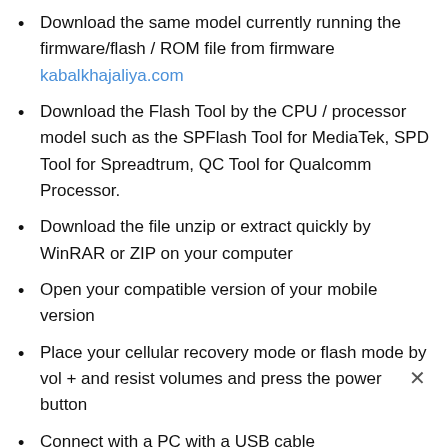Download the same model currently running the firmware/flash / ROM file from firmware kabalkhajaliya.com
Download the Flash Tool by the CPU / processor model such as the SPFlash Tool for MediaTek, SPD Tool for Spreadtrum, QC Tool for Qualcomm Processor.
Download the file unzip or extract quickly by WinRAR or ZIP on your computer
Open your compatible version of your mobile version
Place your cellular recovery mode or flash mode by vol + and resist volumes and press the power button
Connect with a PC with a USB cable